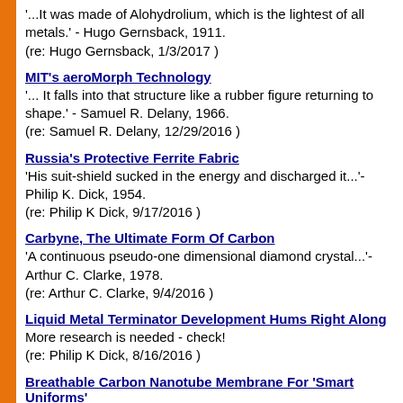'...It was made of Alohydrolium, which is the lightest of all metals.' - Hugo Gernsback, 1911.
(re: Hugo Gernsback, 1/3/2017 )
MIT's aeroMorph Technology
'... It falls into that structure like a rubber figure returning to shape.' - Samuel R. Delany, 1966.
(re: Samuel R. Delany, 12/29/2016 )
Russia's Protective Ferrite Fabric
'His suit-shield sucked in the energy and discharged it...'- Philip K. Dick, 1954.
(re: Philip K Dick, 9/17/2016 )
Carbyne, The Ultimate Form Of Carbon
'A continuous pseudo-one dimensional diamond crystal...'- Arthur C. Clarke, 1978.
(re: Arthur C. Clarke, 9/4/2016 )
Liquid Metal Terminator Development Hums Right Along
More research is needed - check!
(re: Philip K Dick, 8/16/2016 )
Breathable Carbon Nanotube Membrane For 'Smart Uniforms'
'The 'skin's got these reflexes, changes its permeability...'- Peter Watts, 1999...